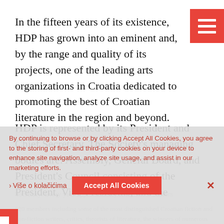[Figure (other): Red hamburger menu button top-right corner with three white horizontal lines]
In the fifteen years of its existence, HDP has grown into an eminent and, by the range and quality of its projects, one of the leading arts organizations in Croatia dedicated to promoting the best of Croatian literature in the region and beyond.
HDP is represented by its President and Chief Secretary. The Society's managing bodies are: Assembly, General Board, and President's Council consisting of the President, Vice-Presidents, and the
Secretary. Every year approximately fifteen new authors
520 members including some of the most distinguished Croatian fiction and non-fiction writers, critics, theorists of literature, the winners of numerous literary awards in Croatia and
By continuing to browse or by clicking Accept All Cookies, you agree to the storing of first- and third-party cookies on your device to enhance site navigation, analyze site usage, and assist in our marketing efforts.